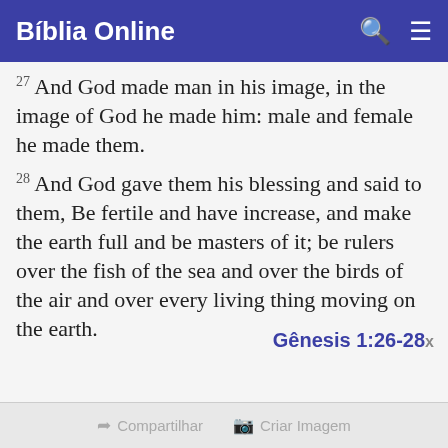Bíblia Online
27 And God made man in his image, in the image of God he made him: male and female he made them.
28 And God gave them his blessing and said to them, Be fertile and have increase, and make the earth full and be masters of it; be rulers over the fish of the sea and over the birds of the air and over every living thing moving on the earth.
Gênesis 1:26-28
Compartilhar   Criar Imagem